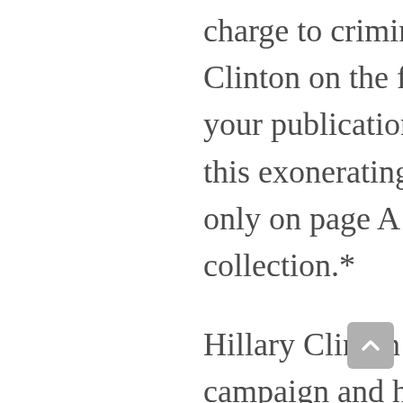charge to criminalize this story, bashing Clinton on the front page for six months, your publication took 35 hours to report this exonerating development — and then only on page A14.  All in all, quite the collection.*
Hillary Clinton is running an intelligent campaign and has a strong service record. In your paper's hands, this, too, is diminished. Instead, her deeds are painted as coming from a “calculating” she-devil